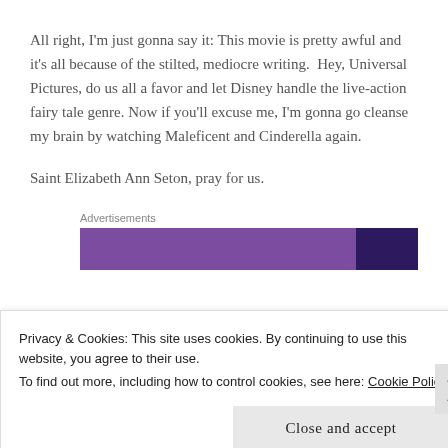All right, I'm just gonna say it: This movie is pretty awful and it's all because of the stilted, mediocre writing.  Hey, Universal Pictures, do us all a favor and let Disney handle the live-action fairy tale genre. Now if you'll excuse me, I'm gonna go cleanse my brain by watching Maleficent and Cinderella again.
Saint Elizabeth Ann Seton, pray for us.
Advertisements
[Figure (other): Advertisement banner with purple and dark purple horizontal bar segments]
Privacy & Cookies: This site uses cookies. By continuing to use this website, you agree to their use.
To find out more, including how to control cookies, see here: Cookie Policy
Close and accept